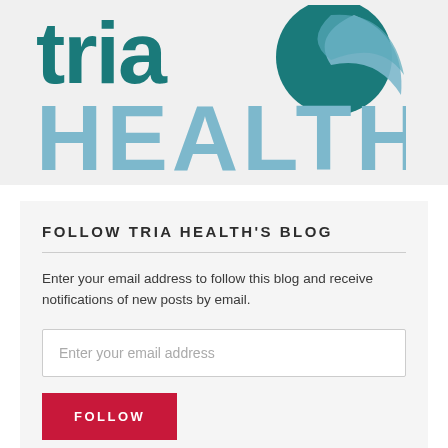[Figure (logo): Tria Health logo with teal 'tria' text, circular swoosh icon, and large light blue 'HEALTH' text below]
FOLLOW TRIA HEALTH'S BLOG
Enter your email address to follow this blog and receive notifications of new posts by email.
Enter your email address
FOLLOW